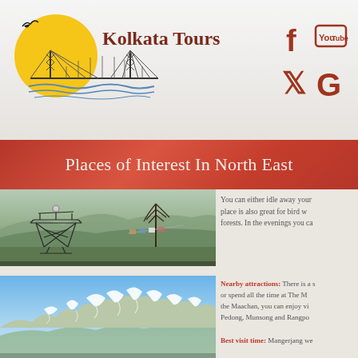[Figure (logo): Kolkata Tours logo with Howrah Bridge illustration and bird on yellow sun]
Kolkata Tours
[Figure (illustration): Social media icons: Facebook (f), YouTube, Twitter (bird), Google (G) in red/maroon color]
Places of Interest In North East
[Figure (photo): Photo of a wooden observation tower/platform on a hillside with misty mountains and a tree in background]
You can either idle away your place is also great for bird w forests. In the evenings you ca
[Figure (photo): Photo of snow-capped Himalayan mountain range under blue sky]
Nearby attractions: There is a s or spend all the time at The M the Maachan, you can enjoy vi Pedong, Munsong and Rangpo
Best visit time: Mangerjang we